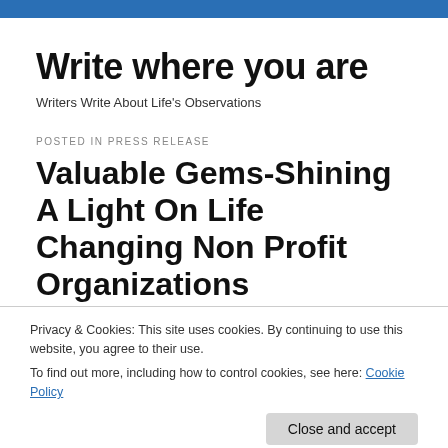Write where you are
Writers Write About Life's Observations
POSTED IN PRESS RELEASE
Valuable Gems-Shining A Light On Life Changing Non Profit Organizations
Privacy & Cookies: This site uses cookies. By continuing to use this website, you agree to their use.
To find out more, including how to control cookies, see here: Cookie Policy
shine a light on life changing non for profit